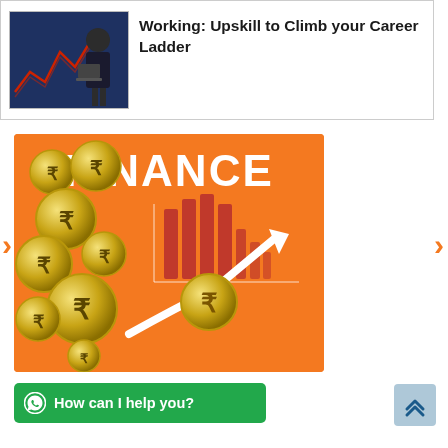[Figure (illustration): Top card with a person in business attire holding a laptop, with a red/graph background, next to bold text reading 'Working: Upskill to Climb your Career Ladder']
Working: Upskill to Climb your Career Ladder
[Figure (infographic): Orange banner with multiple gold Indian Rupee coins on the left side, a bar chart graphic and upward trending arrow with a gold coin in the center-right, and large white bold text 'FINANCE' at the top right]
How can I help you?